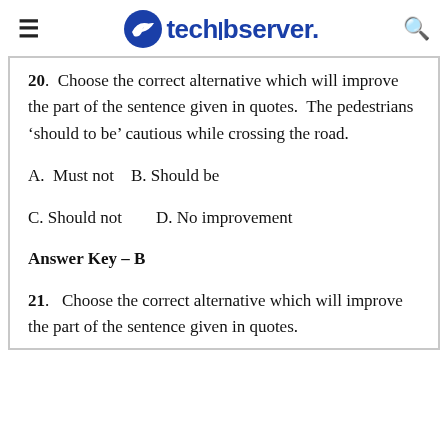techobserver.
20. Choose the correct alternative which will improve the part of the sentence given in quotes. The pedestrians 'should to be' cautious while crossing the road.
A. Must not   B. Should be
C. Should not       D. No improvement
Answer Key – B
21. Choose the correct alternative which will improve the part of the sentence given in quotes.